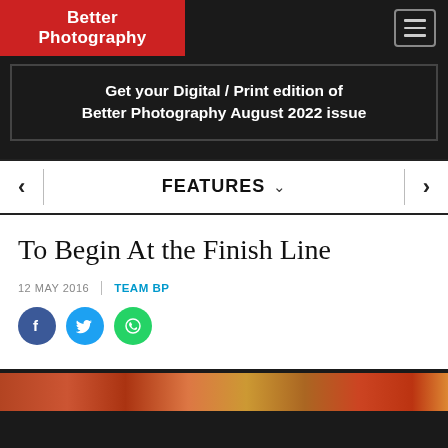Better Photography
Get your Digital / Print edition of Better Photography August 2022 issue
FEATURES
To Begin At the Finish Line
12 MAY 2016 | TEAM BP
[Figure (photo): Partial view of a photo strip at the bottom of the article preview]